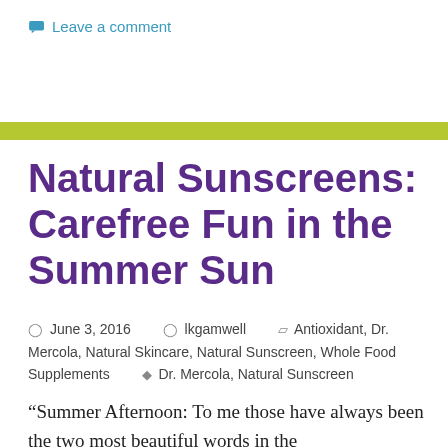Leave a comment
Natural Sunscreens: Carefree Fun in the Summer Sun
June 3, 2016   lkgamwell   Antioxidant, Dr. Mercola, Natural Skincare, Natural Sunscreen, Whole Food Supplements   Dr. Mercola, Natural Sunscreen
“Summer Afternoon: To me those have always been the two most beautiful words in the